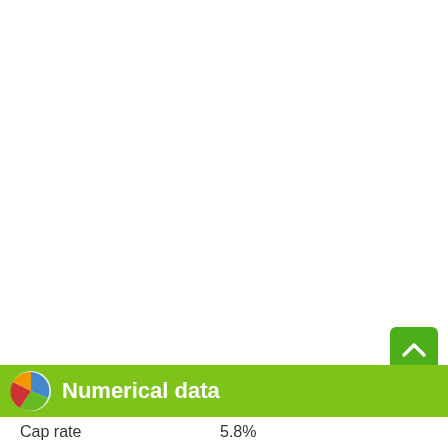[Figure (other): Green square scroll-to-top button with white chevron/caret icon]
Numerical data
| Cap rate | 5.8% |
| Area | 176㎡ |